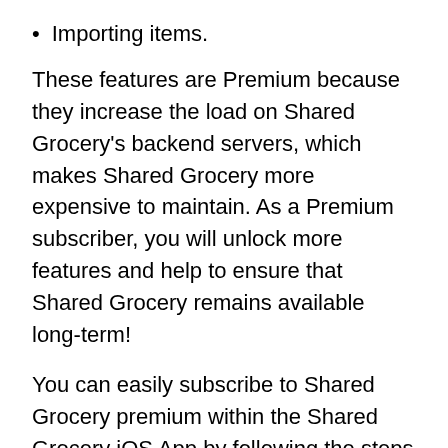Importing items.
These features are Premium because they increase the load on Shared Grocery's backend servers, which makes Shared Grocery more expensive to maintain. As a Premium subscriber, you will unlock more features and help to ensure that Shared Grocery remains available long-term!
You can easily subscribe to Shared Grocery premium within the Shared Grocery iOS App by following the steps below. Note that pricing information is only available within the app.
1. Open the Shared Grocery app.
2. Tap on the … menu button in the top right corner.
3. Tap on “Settings”.